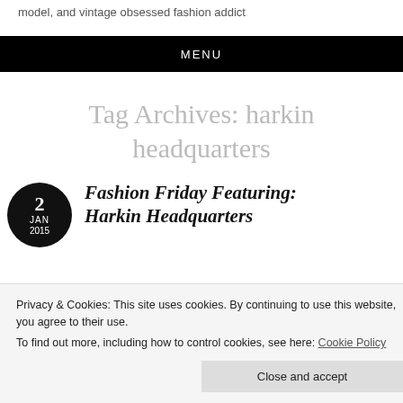model, and vintage obsessed fashion addict
MENU
Tag Archives: harkin headquarters
2 JAN 2015
Fashion Friday Featuring: Harkin Headquarters
Privacy & Cookies: This site uses cookies. By continuing to use this website, you agree to their use.
To find out more, including how to control cookies, see here: Cookie Policy
Close and accept